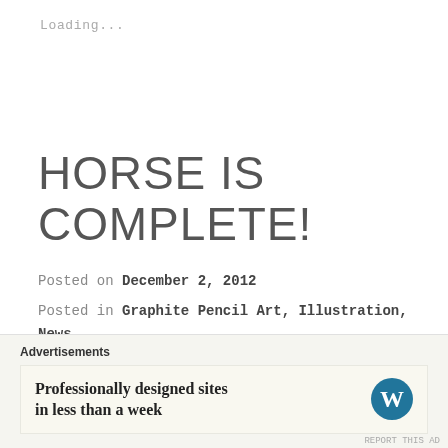Loading...
HORSE IS COMPLETE!
Posted on December 2, 2012
Posted in Graphite Pencil Art, Illustration, News
Tagged animals, drawing, graphite, horse, illustration, nature, pencil, portrait,
Advertisements
Professionally designed sites in less than a week